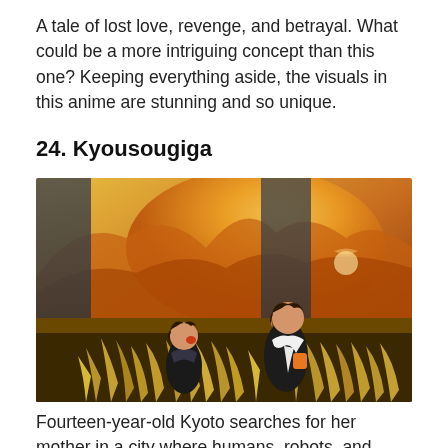A tale of lost love, revenge, and betrayal. What could be a more intriguing concept than this one? Keeping everything aside, the visuals in this anime are stunning and so unique.
24. Kyousougiga
[Figure (photo): Anime screenshot from Kyousougiga showing two characters standing in a golden field of tall grass with a warm orange and yellow sunset sky in the background. One character wears a dark outfit with a white scarf, the other is smaller and also in dark clothing.]
Fourteen-year-old Kyoto searches for her mother in a city where humans, robots, and monsters live. Can